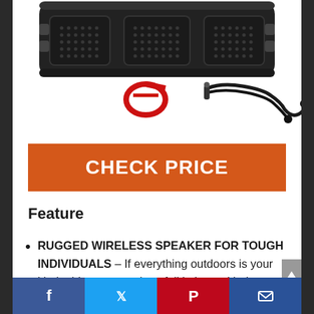[Figure (photo): Top portion of a rugged black Bluetooth speaker (FX100) with mesh grilles, with a red carabiner and black cable/earbuds below it on a white background.]
CHECK PRICE
Feature
RUGGED WIRELESS SPEAKER FOR TOUGH INDIVIDUALS – If everything outdoors is your kinda thing, get ready to fall in love with the FX100 – our newest, most rugged Bluetooth speaker! Enjoy hiking,
Facebook | Twitter | Pinterest | Email